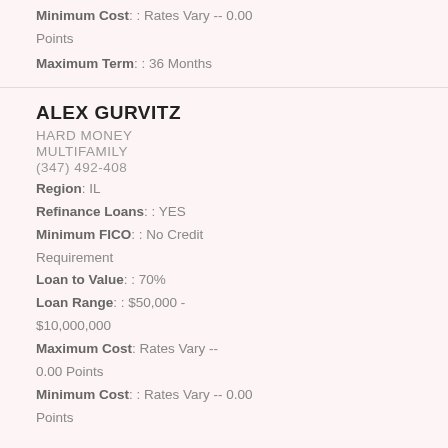Minimum Cost: : Rates Vary -- 0.00 Points
Maximum Term: : 36 Months
ALEX GURVITZ
HARD MONEY
MULTIFAMILY
(347) 492-408
Region: : IL
Refinance Loans: : YES
Minimum FICO: : No Credit Requirement
Loan to Value: : 70%
Loan Range: : $50,000 - $10,000,000
Maximum Cost: Rates Vary -- 0.00 Points
Minimum Cost: : Rates Vary -- 0.00 Points